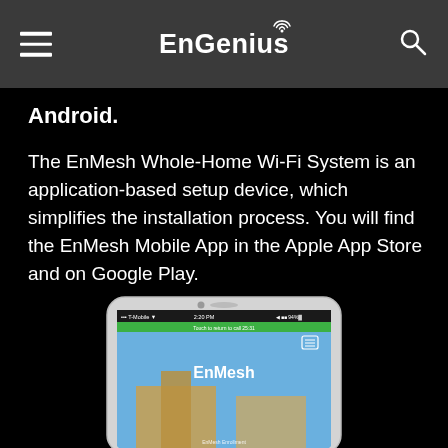EnGenius
Android.
The EnMesh Whole-Home Wi-Fi System is an application-based setup device, which simplifies the installation process. You will find the EnMesh Mobile App in the Apple App Store and on Google Play.
[Figure (screenshot): Smartphone screenshot showing the EnMesh mobile app interface with a house/building background image and the EnMesh logo text displayed on screen.]